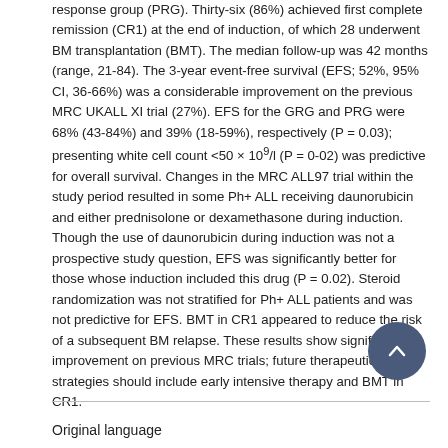response group (PRG). Thirty-six (86%) achieved first complete remission (CR1) at the end of induction, of which 28 underwent BM transplantation (BMT). The median follow-up was 42 months (range, 21-84). The 3-year event-free survival (EFS; 52%, 95% CI, 36-66%) was a considerable improvement on the previous MRC UKALL XI trial (27%). EFS for the GRG and PRG were 68% (43-84%) and 39% (18-59%), respectively (P = 0.03); presenting white cell count <50 × 10⁹/l (P = 0-02) was predictive for overall survival. Changes in the MRC ALL97 trial within the study period resulted in some Ph+ ALL receiving daunorubicin and either prednisolone or dexamethasone during induction. Though the use of daunorubicin during induction was not a prospective study question, EFS was significantly better for those whose induction included this drug (P = 0.02). Steroid randomization was not stratified for Ph+ ALL patients and was not predictive for EFS. BMT in CR1 appeared to reduce the risk of a subsequent BM relapse. These results show significant improvement on previous MRC trials; future therapeutic strategies should include early intensive therapy and BMT in CR1.
Original language